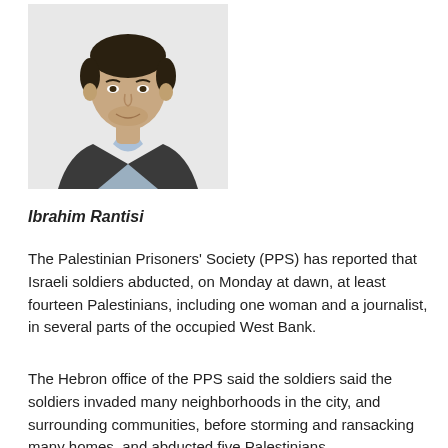[Figure (photo): Headshot photo of Ibrahim Rantisi, a man in a dark blazer and light blue collared shirt, photographed from chest up against a light background.]
Ibrahim Rantisi
The Palestinian Prisoners' Society (PPS) has reported that Israeli soldiers abducted, on Monday at dawn, at least fourteen Palestinians, including one woman and a journalist, in several parts of the occupied West Bank.
The Hebron office of the PPS said the soldiers said the soldiers invaded many neighborhoods in the city, and surrounding communities, before storming and ransacking many homes, and abducted five Palestinians.
It added that the soldiers also stopped and searched many cars at military roadblocks, in the northern part of Hebron, and interrogated several Palestinians while inspecting their ID cards.